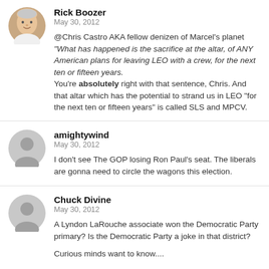Rick Boozer
May 30, 2012
@Chris Castro AKA fellow denizen of Marcel's planet "What has happened is the sacrifice at the altar, of ANY American plans for leaving LEO with a crew, for the next ten or fifteen years.
You're absolutely right with that sentence, Chris. And that altar which has the potential to strand us in LEO "for the next ten or fifteen years" is called SLS and MPCV.
amightywind
May 30, 2012
I don't see The GOP losing Ron Paul's seat. The liberals are gonna need to circle the wagons this election.
Chuck Divine
May 30, 2012
A Lyndon LaRouche associate won the Democratic Party primary? Is the Democratic Party a joke in that district?
Curious minds want to know....